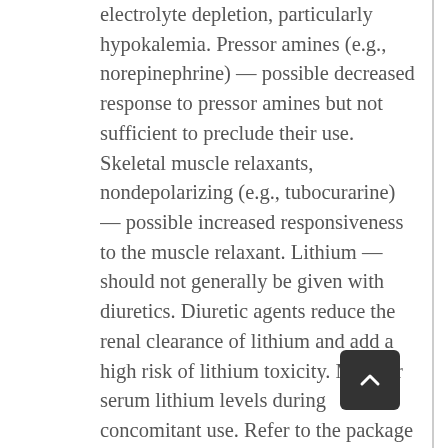electrolyte depletion, particularly hypokalemia. Pressor amines (e.g., norepinephrine) — possible decreased response to pressor amines but not sufficient to preclude their use. Skeletal muscle relaxants, nondepolarizing (e.g., tubocurarine) — possible increased responsiveness to the muscle relaxant. Lithium  — should not generally be given with diuretics. Diuretic agents reduce the renal clearance of lithium and add a high risk of lithium toxicity. Monitor serum lithium levels during concomitant use. Refer to the package insert for lithium preparations before use of such preparations with Losartan Potassium and Hydrochlorothiazide Tablets. Non-Steroidal Anti-Inflammatory Drugs (NSAIDs) Including Selective Cyclooxygenase-2 Inhibitors (COX-2 Inhibitors) – The administration of a non-steroidal anti-